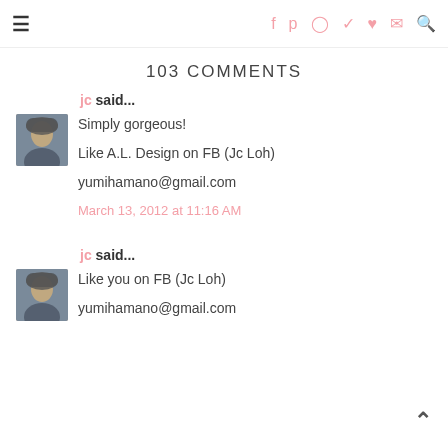≡ [social icons: f p o t ♥ ✉ 🔍]
103 COMMENTS
jc said...
Simply gorgeous!

Like A.L. Design on FB (Jc Loh)

yumihamano@gmail.com

March 13, 2012 at 11:16 AM
jc said...
Like you on FB (Jc Loh)

yumihamano@gmail.com